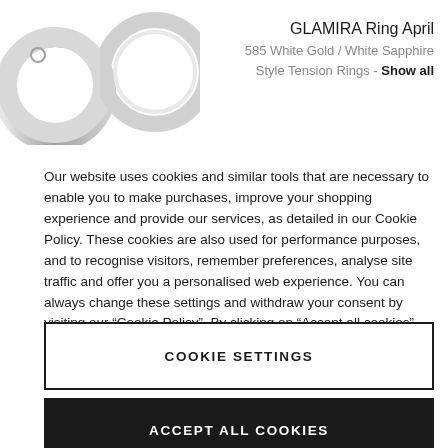[Figure (photo): Two partial ring images in white/grey on a white background, showing ring shapes from different angles]
GLAMIRA Ring April
585 White Gold / White Sapphire
Style Tension Rings - Show all
Our website uses cookies and similar tools that are necessary to enable you to make purchases, improve your shopping experience and provide our services, as detailed in our Cookie Policy. These cookies are also used for performance purposes, and to recognise visitors, remember preferences, analyse site traffic and offer you a personalised web experience. You can always change these settings and withdraw your consent by visiting our “Cookie Policy”. By clicking on “Accept all cookies”, you agree to the storing of cookies. To learn more about how we process your data, please consult our Privacy Policy.
COOKIE SETTINGS
ACCEPT ALL COOKIES